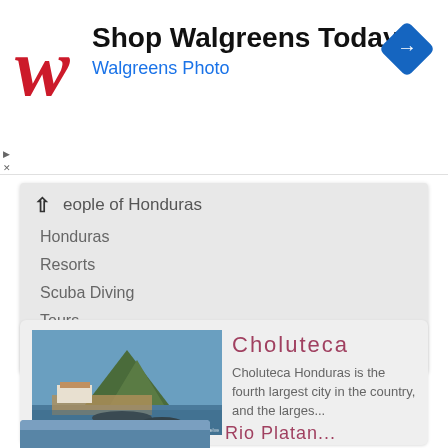[Figure (illustration): Walgreens ad banner with red script W logo, 'Shop Walgreens Today' headline, 'Walgreens Photo' subtitle in blue, and a blue diamond navigation arrow icon on right]
eople of Honduras
Honduras
Resorts
Scuba Diving
Tours
Vacations
[Figure (photo): Photo of Choluteca, Honduras showing a waterfront/harbor scene with a hill/volcano in background, small buildings and boats]
Choluteca
Choluteca Honduras is the fourth largest city in the country, and the larges...
[Figure (photo): Partial photo at bottom, partially visible]